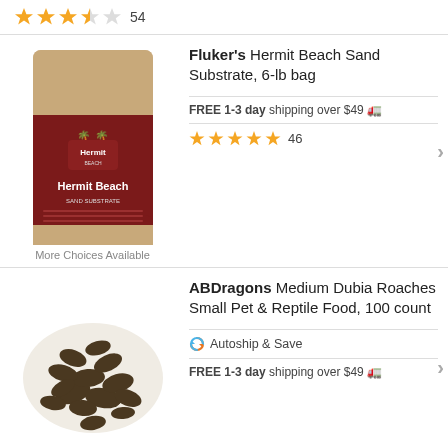[Figure (other): Star rating: 3.5 out of 5 stars, 54 reviews]
[Figure (photo): Fluker's Hermit Beach Sand Substrate product bag image]
Fluker's Hermit Beach Sand Substrate, 6-lb bag
FREE 1-3 day shipping over $49
[Figure (other): Star rating: 5 out of 5 stars, 46 reviews]
More Choices Available
[Figure (photo): ABDragons Medium Dubia Roaches product image]
ABDragons Medium Dubia Roaches Small Pet & Reptile Food, 100 count
Autoship & Save
FREE 1-3 day shipping over $49
More Choices Available